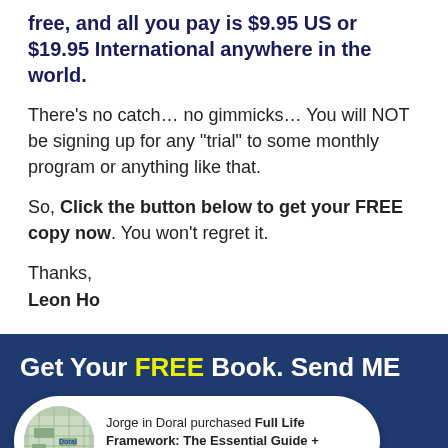free, and all you pay is $9.95 US or $19.95 International anywhere in the world.
There's no catch… no gimmicks… You will NOT be signing up for any "trial" to some monthly program or anything like that.
So, Click the button below to get your FREE copy now. You won't regret it.
Thanks,
Leon Ho
Get Your FREE Book. Send ME
Jorge in Doral purchased Full Life Framework: The Essential Guide + Bonuses
hardcover book to your doorstep. ASAP